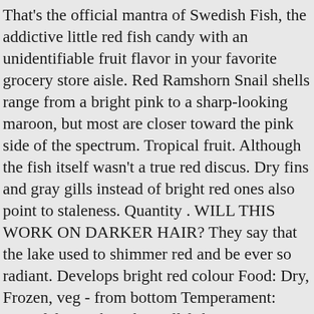That's the official mantra of Swedish Fish, the addictive little red fish candy with an unidentifiable fruit flavor in your favorite grocery store aisle. Red Ramshorn Snail shells range from a bright pink to a sharp-looking maroon, but most are closer toward the pink side of the spectrum. Tropical fruit. Although the fish itself wasn't a true red discus. Dry fins and gray gills instead of bright red ones also point to staleness. Quantity . WILL THIS WORK ON DARKER HAIR? They say that the lake used to shimmer red and be ever so radiant. Develops bright red colour Food: Dry, Frozen, veg - from bottom Temperament: Peaceful - stock with small fish species Care Level: Easy Temperature Range: 22 - 27°C PH Range: 7.0 - 7.6 Max Size: 4cm All Fish are only available as in store purchase. Dec 9, 2016 - This famous bright-red Hungarian soup is prepared with fish, bell peppers, tomatoes and spicy paprika. Get more help from Chegg . Brown-red gills = old